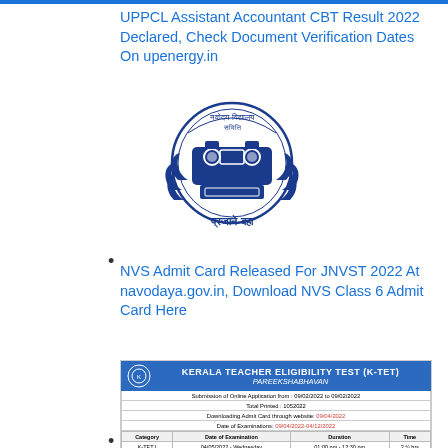UPPCL Assistant Accountant CBT Result 2022 Declared, Check Document Verification Dates On upenergy.in
[Figure (logo): Navodaya Vidyalaya Samiti (NVS) circular logo with Hindi text, featuring camera/projector imagery and text 'प्रजाने बहा']
NVS Admit Card Released For JNVST 2022 At navodaya.gov.in, Download NVS Class 6 Admit Card Here
[Figure (screenshot): Kerala Teacher Eligibility Test (K-TET) PAREEKSHABHAVAN form showing schedule table with categories K-TET I, K-TET II, K-TET III, K-TET IV with dates, duration and time columns]
KTET 2022 Schedule Released At...